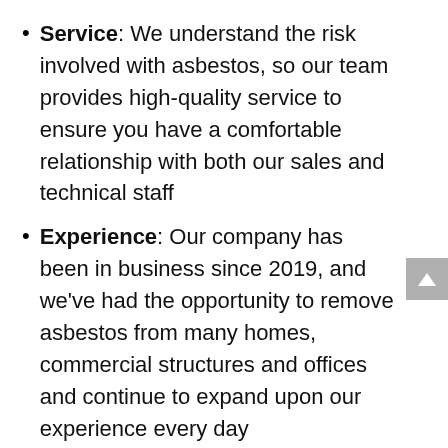Service: We understand the risk involved with asbestos, so our team provides high-quality service to ensure you have a comfortable relationship with both our sales and technical staff
Experience: Our company has been in business since 2019, and we've had the opportunity to remove asbestos from many homes, commercial structures and offices and continue to expand upon our experience every day
Affordability: Dealing with asbestos is already a nuisance, and figuring out how to pay for it shouldn't be. We provide all our asbestos removal services at affordable prices to ensure you can have a safe living environment without breaking the bank